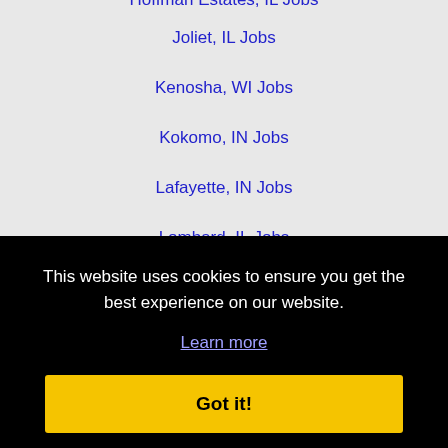Hoffman Estates, IL Jobs
Joliet, IL Jobs
Kenosha, WI Jobs
Kokomo, IN Jobs
Lafayette, IN Jobs
Lombard, IL Jobs
Mishawaka, IN Jobs
Mount Prospect, IL Jobs
Naperville, IL Jobs
Oak Lawn, IL Jobs
This website uses cookies to ensure you get the best experience on our website.
Learn more
Got it!
Tinley Park, IL Jobs